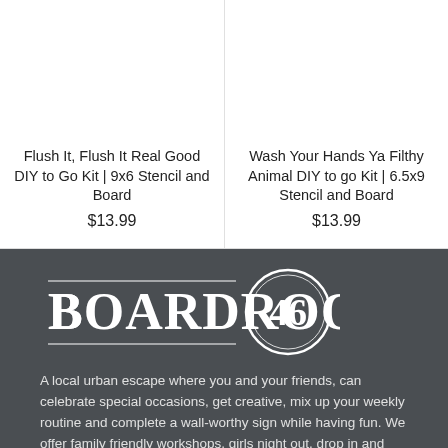Flush It, Flush It Real Good DIY to Go Kit | 9x6 Stencil and Board
$13.99
Wash Your Hands Ya Filthy Animal DIY to go Kit | 6.5x9 Stencil and Board
$13.99
[Figure (logo): BoardRoom46 decorative logo in white on dark grey background]
A local urban escape where you and your friends, can celebrate special occasions, get creative, mix up your weekly routine and complete a wall-worthy sign while having fun. We offer family friendly workshops, girls night out, drop in and paint, as well as